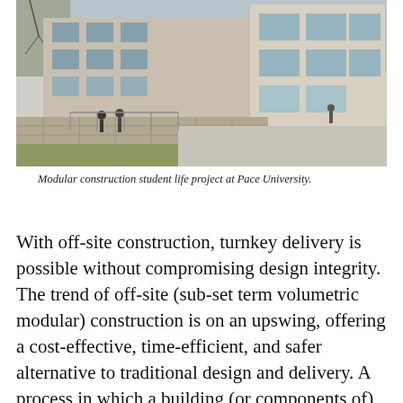[Figure (photo): Exterior photograph of a modern multi-story building with stone and glass facade on a university campus, with students walking outside.]
Modular construction student life project at Pace University.
With off-site construction, turnkey delivery is possible without compromising design integrity. The trend of off-site (sub-set term volumetric modular) construction is on an upswing, offering a cost-effective, time-efficient, and safer alternative to traditional design and delivery. A process in which a building (or components of) is constructed off-